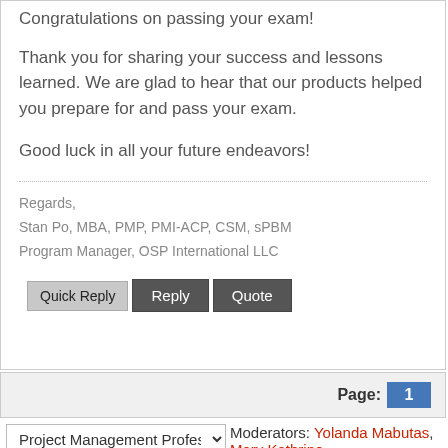Congratulations on passing your exam!
Thank you for sharing your success and lessons learned. We are glad to hear that our products helped you prepare for and pass your exam.
Good luck in all your future endeavors!
Regards,
Stan Po, MBA, PMP, PMI-ACP, CSM, sPBM
Program Manager, OSP International LLC
Quick Reply  Reply  Quote
Page: 1
Project Management Profes:
Moderators: Yolanda Mabutas, Mary Kathrine